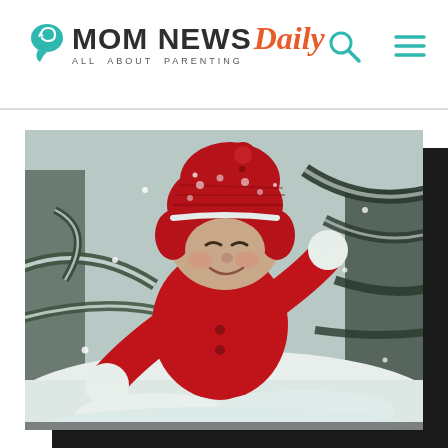Mom News Daily – All About Parenting
[Figure (photo): A young toddler dressed in a red winter coat and red knit hat with pompom, smiling and playing in the snow among snow-covered pine tree branches. The child is reaching out with snow-covered red mittens.]